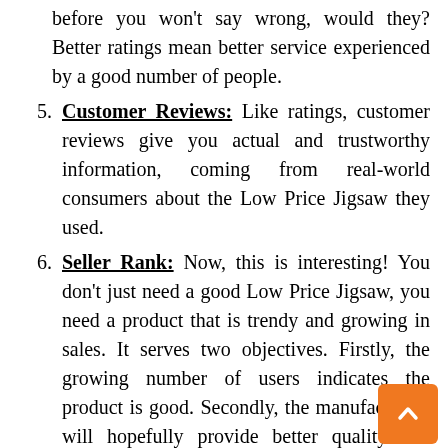before you won't say wrong, would they? Better ratings mean better service experienced by a good number of people.
Customer Reviews: Like ratings, customer reviews give you actual and trustworthy information, coming from real-world consumers about the Low Price Jigsaw they used.
Seller Rank: Now, this is interesting! You don't just need a good Low Price Jigsaw, you need a product that is trendy and growing in sales. It serves two objectives. Firstly, the growing number of users indicates the product is good. Secondly, the manufacturers will hopefully provide better quality and after-sales service because that growing number.
Value For The Money: They say you get